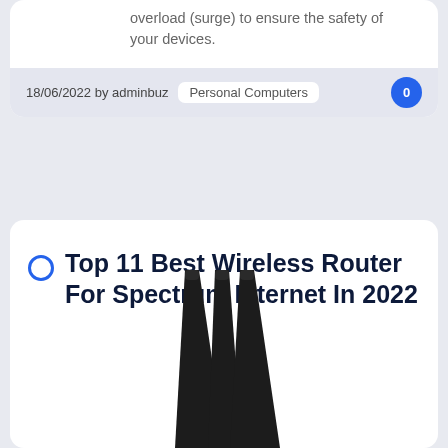overload (surge) to ensure the safety of your devices.
18/06/2022 by adminbuz   Personal Computers   0
Top 11 Best Wireless Router For Spectrum Internet In 2022
[Figure (photo): Three black wireless router antennas pointing upward, partially visible at bottom of card]